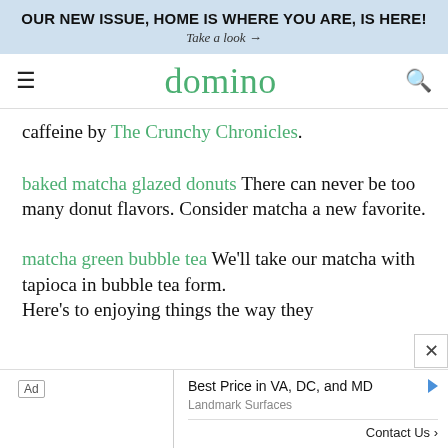OUR NEW ISSUE, HOME IS WHERE YOU ARE, IS HERE! Take a look →
domino
caffeine by The Crunchy Chronicles.
baked matcha glazed donuts There can never be too many donut flavors. Consider matcha a new favorite.
matcha green bubble tea We'll take our matcha with tapioca in bubble tea form. Here's to enjoying things the way they...
Ad Best Price in VA, DC, and MD Landmark Surfaces Contact Us >